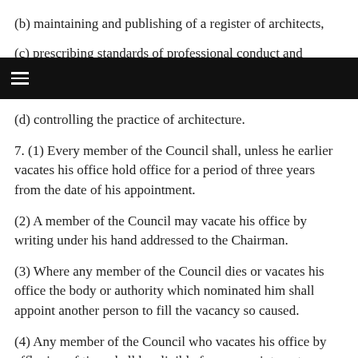(b) maintaining and publishing of a register of architects,
(c) prescribing standards of professional conduct and
(d) controlling the practice of architecture.
7. (1) Every member of the Council shall, unless he earlier vacates his office hold office for a period of three years from the date of his appointment.
(2) A member of the Council may vacate his office by writing under his hand addressed to the Chairman.
(3) Where any member of the Council dies or vacates his office the body or authority which nominated him shall appoint another person to fill the vacancy so caused.
(4) Any member of the Council who vacates his office by effluxion of time shall be eligible for re-appointment as a member.